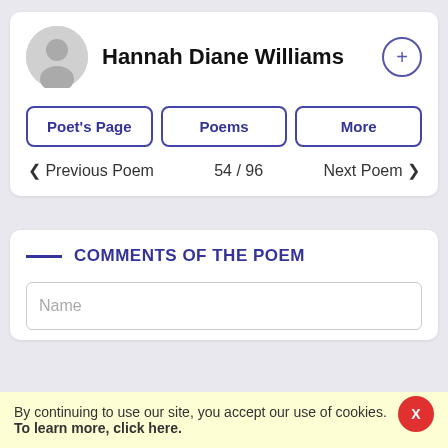Hannah Diane Williams
Poet's Page
Poems
More
< Previous Poem   54 / 96   Next Poem >
COMMENTS OF THE POEM
Name
By continuing to use our site, you accept our use of cookies. To learn more, click here.